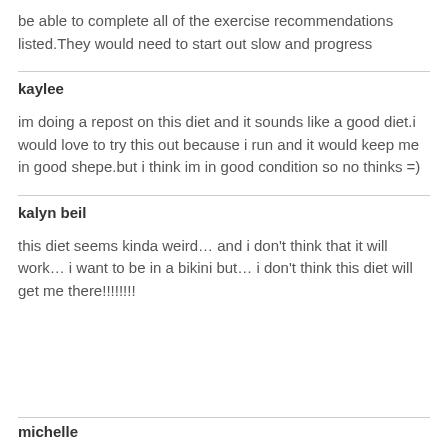be able to complete all of the exercise recommendations listed.They would need to start out slow and progress
kaylee
im doing a repost on this diet and it sounds like a good diet.i would love to try this out because i run and it would keep me in good shepe.but i think im in good condition so no thinks =)
kalyn beil
this diet seems kinda weird… and i don't think that it will work… i want to be in a bikini but… i don't think this diet will get me there!!!!!!!!
michelle